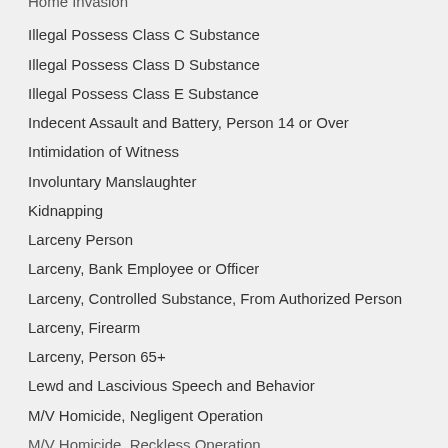Home Invasion
Illegal Possess Class C Substance
Illegal Possess Class D Substance
Illegal Possess Class E Substance
Indecent Assault and Battery, Person 14 or Over
Intimidation of Witness
Involuntary Manslaughter
Kidnapping
Larceny Person
Larceny, Bank Employee or Officer
Larceny, Controlled Substance, From Authorized Person
Larceny, Firearm
Larceny, Person 65+
Lewd and Lascivious Speech and Behavior
M/V Homicide, Negligent Operation
M/V Homicide, Reckless Operation